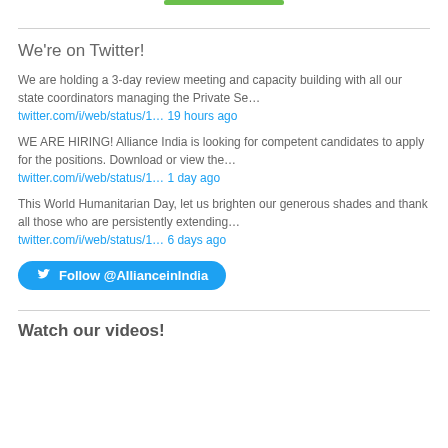We're on Twitter!
We are holding a 3-day review meeting and capacity building with all our state coordinators managing the Private Se…
twitter.com/i/web/status/1… 19 hours ago
WE ARE HIRING! Alliance India is looking for competent candidates to apply for the positions. Download or view the…
twitter.com/i/web/status/1… 1 day ago
This World Humanitarian Day, let us brighten our generous shades and thank all those who are persistently extending…
twitter.com/i/web/status/1… 6 days ago
Follow @AllianceinIndia
Watch our videos!